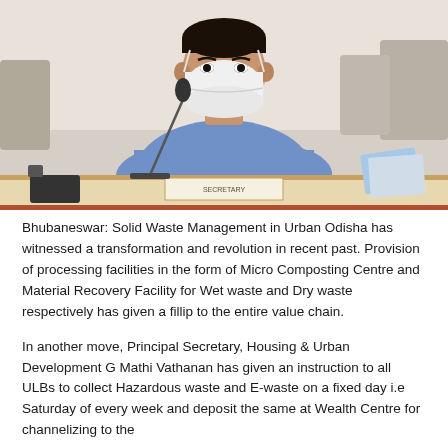[Figure (photo): A man wearing a white N95 face mask and a blue shirt sits at a conference table with a microphone and a nameplate reading 'SECRETARY'. There are chairs and papers visible in the background.]
Bhubaneswar: Solid Waste Management in Urban Odisha has witnessed a transformation and revolution in recent past. Provision of processing facilities in the form of Micro Composting Centre and Material Recovery Facility for Wet waste and Dry waste respectively has given a fillip to the entire value chain.
In another move, Principal Secretary, Housing & Urban Development G Mathi Vathanan has given an instruction to all ULBs to collect Hazardous waste and E-waste on a fixed day i.e Saturday of every week and deposit the same at Wealth Centre for channelizing to the